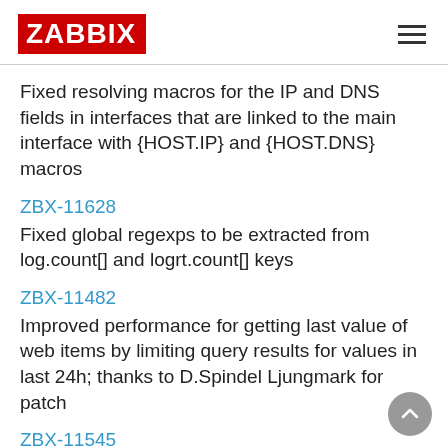ZABBIX
Fixed resolving macros for the IP and DNS fields in interfaces that are linked to the main interface with {HOST.IP} and {HOST.DNS} macros
ZBX-11628
Fixed global regexps to be extracted from log.count[] and logrt.count[] keys
ZBX-11482
Improved performance for getting last value of web items by limiting query results for values in last 24h; thanks to D.Spindel Ljungmark for patch
ZBX-11545
Fixed dependency validation and update when trigger expression is changed
ZBX-11538